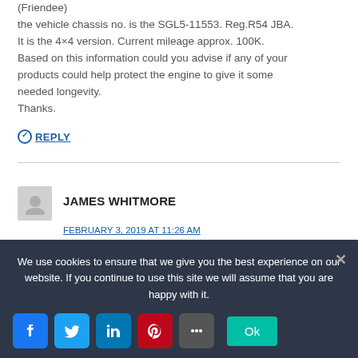(Friendee)
the vehicle chassis no. is the SGL5-11553. Reg.R54 JBA. It is the 4×4 version. Current mileage approx. 100K. Based on this information could you advise if any of your products could help protect the engine to give it some needed longevity.
Thanks.
REPLY
JAMES WHITMORE
FEBRUARY 3, 2019 AT 11:26 AM
Hi, can you help, are these safe to use in my BMW X5 E70 3.0 AUTO?. Many thanks
We use cookies to ensure that we give you the best experience on our website. If you continue to use this site we will assume that you are happy with it.